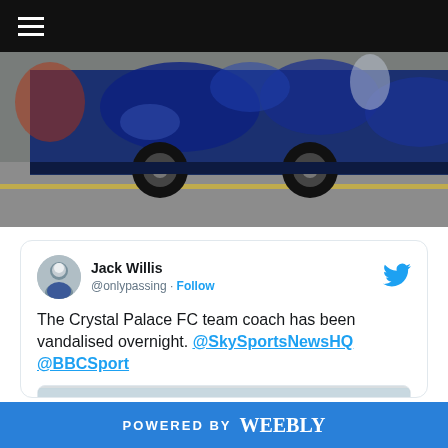[Figure (photo): Screenshot of a website showing a Crystal Palace FC team coach bus with blue graphic wrap design, parked on a road. Dark navigation bar at top with hamburger menu icon and red strip accent.]
Jack Willis @onlypassing · Follow
The Crystal Palace FC team coach has been vandalised overnight. @SkySportsNewsHQ @BBCSport
[Figure (photo): Partial embedded image preview showing trees and sky in the background, partially cropped.]
POWERED BY weebly